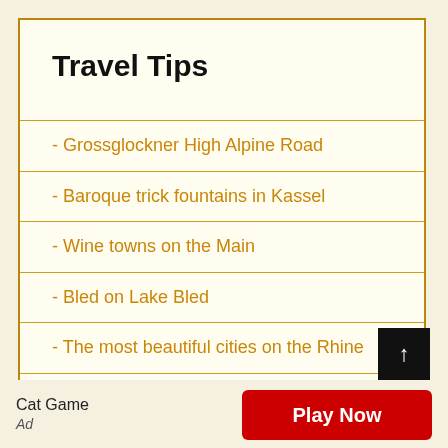Travel Tips
- Grossglockner High Alpine Road
- Baroque trick fountains in Kassel
- Wine towns on the Main
- Bled on Lake Bled
- The most beautiful cities on the Rhine
- California beach vacation
- Helsinki sights
Cat Game
Ad